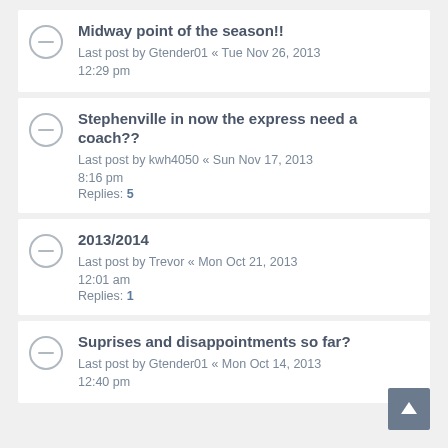Midway point of the season!! Last post by Gtender01 « Tue Nov 26, 2013 12:29 pm
Stephenville in now the express need a coach?? Last post by kwh4050 « Sun Nov 17, 2013 8:16 pm Replies: 5
2013/2014 Last post by Trevor « Mon Oct 21, 2013 12:01 am Replies: 1
Suprises and disappointments so far? Last post by Gtender01 « Mon Oct 14, 2013 12:40 pm